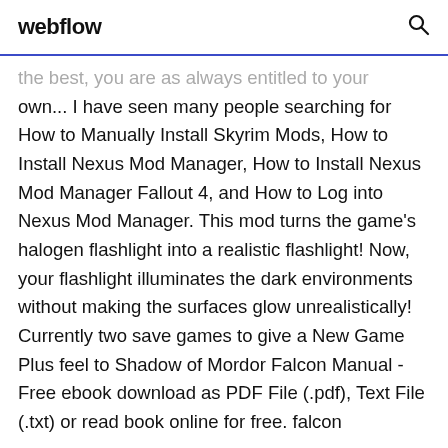webflow
the best, you are as always entitled to your own... I have seen many people searching for How to Manually Install Skyrim Mods, How to Install Nexus Mod Manager, How to Install Nexus Mod Manager Fallout 4, and How to Log into Nexus Mod Manager. This mod turns the game's halogen flashlight into a realistic flashlight! Now, your flashlight illuminates the dark environments without making the surfaces glow unrealistically! Currently two save games to give a New Game Plus feel to Shadow of Mordor Falcon Manual - Free ebook download as PDF File (.pdf), Text File (.txt) or read book online for free. falcon